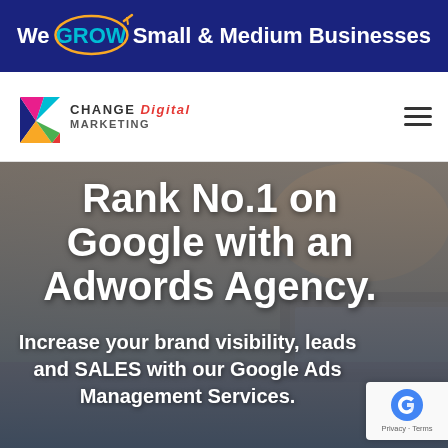We GROW Small & Medium Businesses
[Figure (logo): Change Digital Marketing logo with colorful arrow/chevron graphic and text CHANGE Digital MARKETING]
Rank No.1 on Google with an Adwords Agency.
Increase your brand visibility, leads and SALES with our Google Ads Management Services.